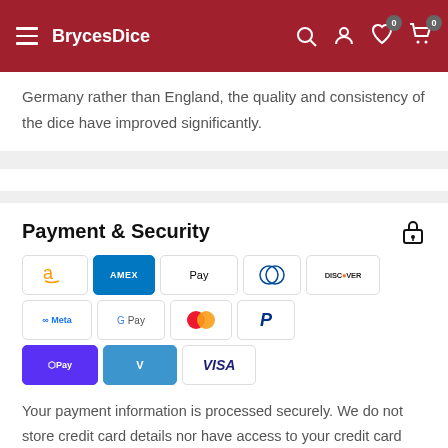BrycesDice
Germany rather than England, the quality and consistency of the dice have improved significantly.
Payment & Security
[Figure (other): Payment method icons: Amazon, Amex, Apple Pay, Diners Club, Discover, Meta Pay, Google Pay, Mastercard, PayPal, Shop Pay, Venmo, Visa]
Your payment information is processed securely. We do not store credit card details nor have access to your credit card information.